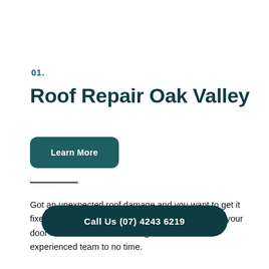01.
Roof Repair Oak Valley
Learn More
Got an unexpected roof damage and you want to get it fixed immediately? Give us a call and we will be at your door in no time. You can also get it done with our experienced team to no time.
Call Us (07) 4243 6219